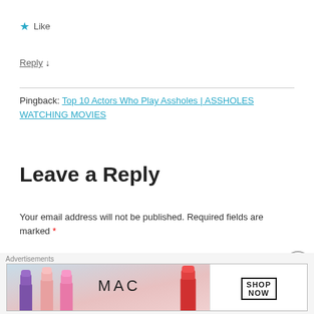★ Like
Reply ↓
Pingback: Top 10 Actors Who Play Assholes | ASSHOLES WATCHING MOVIES
Leave a Reply
Your email address will not be published. Required fields are marked *
Comment *
[Figure (photo): MAC cosmetics advertisement showing lipsticks with 'SHOP NOW' button]